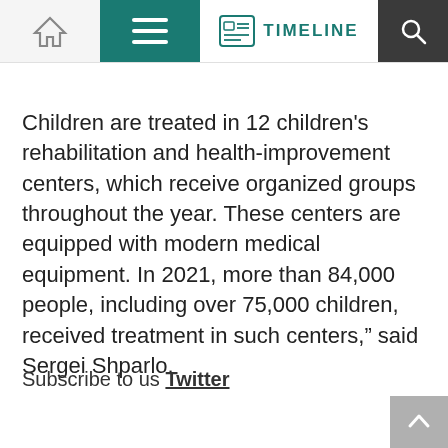TIMELINE
Children are treated in 12 children's rehabilitation and health-improvement centers, which receive organized groups throughout the year. These centers are equipped with modern medical equipment. In 2021, more than 84,000 people, including over 75,000 children, received treatment in such centers,” said Sergei Shparlo.
Subscribe to us Twitter